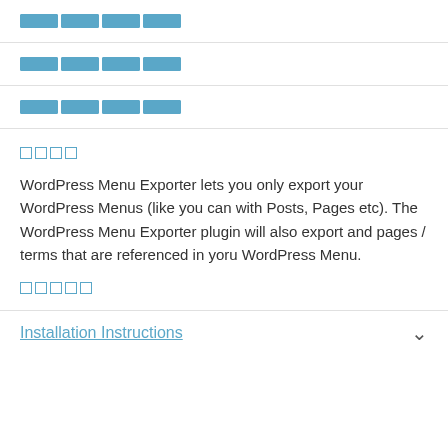□□□□
□□□□
□□□□
□□□□
WordPress Menu Exporter lets you only export your WordPress Menus (like you can with Posts, Pages etc). The WordPress Menu Exporter plugin will also export and pages / terms that are referenced in yoru WordPress Menu.
□□□□□
Installation Instructions